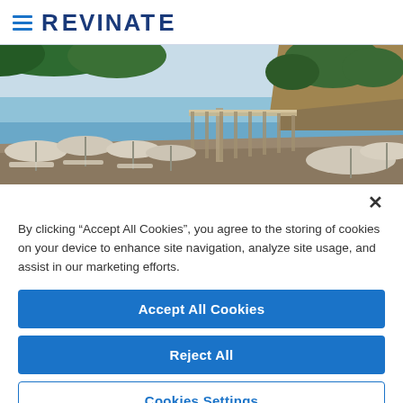REVINATE
[Figure (photo): Beach scene with white straw umbrellas and lounge chairs on a pebbly shore, a wooden pier extending into calm blue sea, with a rocky hill covered in trees in the background.]
By clicking “Accept All Cookies”, you agree to the storing of cookies on your device to enhance site navigation, analyze site usage, and assist in our marketing efforts.
Accept All Cookies
Reject All
Cookies Settings